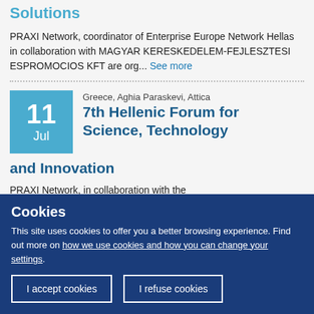Solutions
PRAXI Network, coordinator of Enterprise Europe Network Hellas in collaboration with MAGYAR KERESKEDELEM-FEJLESZTESI ESPROMOCIOS KFT are org... See more
Greece, Aghia Paraskevi, Attica
7th Hellenic Forum for Science, Technology and Innovation
PRAXI Network, in collaboration with the
Cookies
This site uses cookies to offer you a better browsing experience. Find out more on how we use cookies and how you can change your settings.
I accept cookies
I refuse cookies